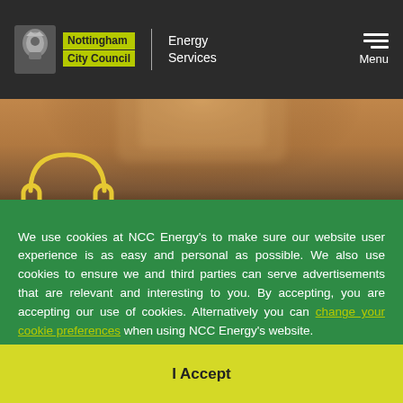Nottingham City Council | Energy Services
[Figure (screenshot): Blurred background photo of a person holding something, with a yellow headphones SVG icon overlay]
We use cookies at NCC Energy's to make sure our website user experience is as easy and personal as possible. We also use cookies to ensure we and third parties can serve advertisements that are relevant and interesting to you. By accepting, you are accepting our use of cookies. Alternatively you can change your cookie preferences when using NCC Energy's website.
I Accept